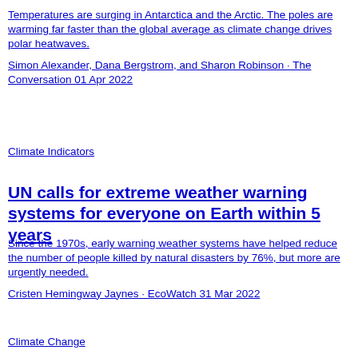Temperatures are surging in Antarctica and the Arctic. The poles are warming far faster than the global average as climate change drives polar heatwaves.
Simon Alexander, Dana Bergstrom, and Sharon Robinson · The Conversation 01 Apr 2022
Climate Indicators
UN calls for extreme weather warning systems for everyone on Earth within 5 years
Since the 1970s, early warning weather systems have helped reduce the number of people killed by natural disasters by 76%, but more are urgently needed.
Cristen Hemingway Jaynes · EcoWatch 31 Mar 2022
Climate Change